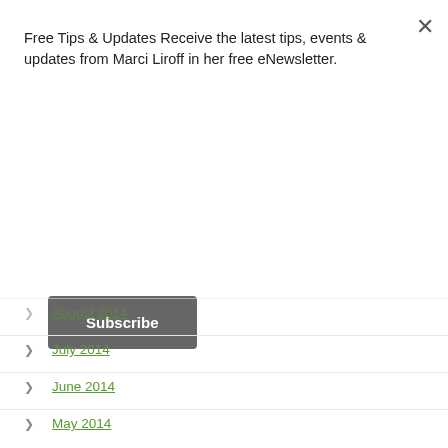Free Tips & Updates Receive the latest tips, events & updates from Marci Liroff in her free eNewsletter.
Subscribe
August 2014
July 2014
June 2014
May 2014
April 2014
March 2014
February 2014
January 2014
December 2013
November 2013
October 2013
September 2013
August 2013